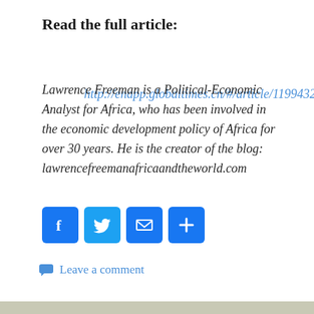Read the full article:
http://enapp.globaltimes.cn/#/article/1199432
Lawrence Freeman is a Political-Economic Analyst for Africa, who has been involved in the economic development policy of Africa for over 30 years. He is the creator of the blog: lawrencefreemanafricaandtheworld.com
[Figure (infographic): Social sharing buttons: Facebook (blue f), Twitter (blue bird), Email (blue envelope), Share (blue plus)]
Leave a comment